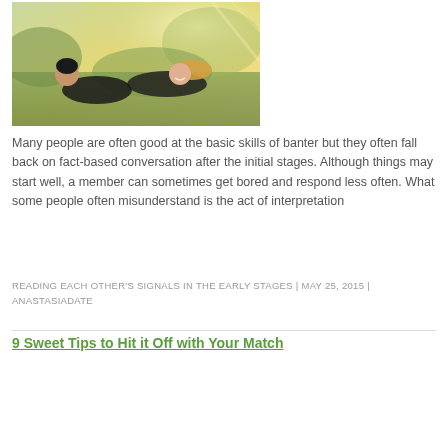[Figure (photo): A couple laughing and lying together outdoors in a sunny green field. A man and woman with long blonde hair in casual dark clothing, appearing happy and playful.]
Many people are often good at the basic skills of banter but they often fall back on fact-based conversation after the initial stages. Although things may start well, a member can sometimes get bored and respond less often. What some people often misunderstand is the act of interpretation
READING EACH OTHER'S SIGNALS IN THE EARLY STAGES | MAY 25, 2015 | ANASTASIADATE
9 Sweet Tips to Hit it Off with Your Match